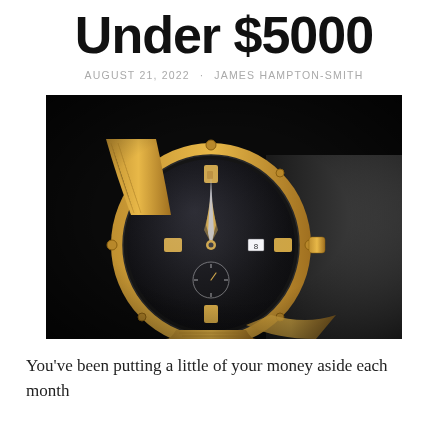Under $5000
AUGUST 21, 2022 · JAMES HAMPTON-SMITH
[Figure (photo): A luxury chronograph watch with a black dial and gold-tone stainless steel bracelet, displayed on a dark box against a black background. The watch features large Arabic numerals, gold-toned hands, and a sub-dial.]
You've been putting a little of your money aside each month